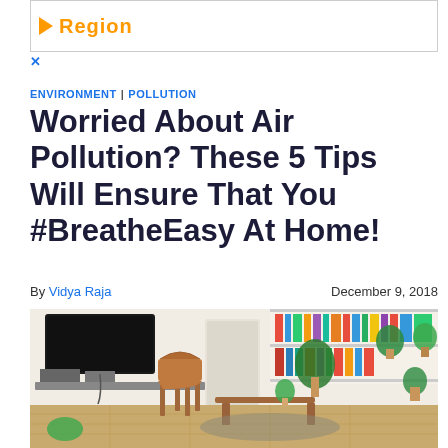[Figure (other): Advertisement banner with orange play button icon and orange text 'Region', with a small blue X close button below]
ENVIRONMENT | POLLUTION
Worried About Air Pollution? These 5 Tips Will Ensure That You #BreatheEasy At Home!
By Vidya Raja    December 9, 2018
[Figure (photo): Interior of a modern living room with wooden mid-century chair, small round coffee table, wall-mounted TV, plants, and bookshelves in the background]